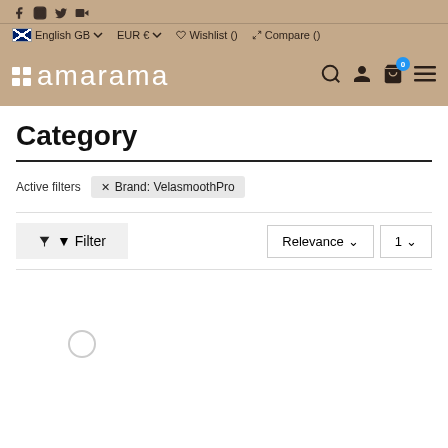amarama - English GB | EUR € | Wishlist () | Compare ()
Category
Active filters  ✕ Brand: VelasmoothPro
Filter  |  Relevance ∨  |  1 ∨